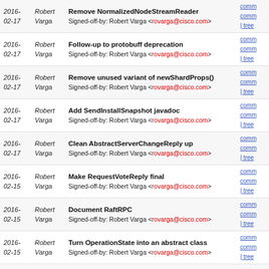2016-02-17 Robert Varga — Remove NormalizedNodeStreamReader
Signed-off-by: Robert Varga <rovarga@cisco.com>
2016-02-17 Robert Varga — Follow-up to protobuff deprecation
Signed-off-by: Robert Varga <rovarga@cisco.com>
2016-02-17 Robert Varga — Remove unused variant of newShardProps()
Signed-off-by: Robert Varga <rovarga@cisco.com>
2016-02-17 Robert Varga — Add SendInstallSnapshot javadoc
Signed-off-by: Robert Varga <rovarga@cisco.com>
2016-02-17 Robert Varga — Clean AbstractServerChangeReply up
Signed-off-by: Robert Varga <rovarga@cisco.com>
2016-02-15 Robert Varga — Make RequestVoteReply final
Signed-off-by: Robert Varga <rovarga@cisco.com>
2016-02-15 Robert Varga — Document RaftRPC
Signed-off-by: Robert Varga <rovarga@cisco.com>
2016-02-15 Robert Varga — Turn OperationState into an abstract class
Signed-off-by: Robert Varga <rovarga@cisco.com>
2016-02-15 Robert Varga — Turn SendHeartBeat into a singleton
Signed-off-by: Robert Varga <rovarga@cisco.com>
2016-02-15 Robert Varga — Turn LeaderTransitioning into a singleton
Signed-off-by: Robert Varga <rovarga@cisco.com>
2016-02-15 Robert Varga — Hide IsolatedLeaderCheck message
Signed-off-by: Robert Varga <rovarga@cisco.com>
2016-02-15 Robert Varga — Make FollowerInitialSyncUpStatus final
Signed-off-by: Robert Varga <rovarga@cisco.com>
2016-02-15 Robert Varga — Turn ElectionTimeout into a proper singleton
Signed-off-by: Robert Varga <rovarga@cisco.com>